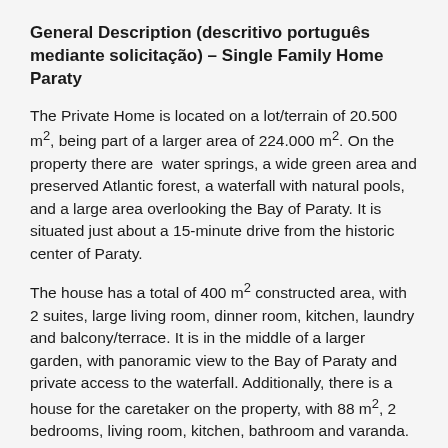General Description (descritivo português mediante solicitação) – Single Family Home Paraty
The Private Home is located on a lot/terrain of 20.500 m², being part of a larger area of 224.000 m². On the property there are  water springs, a wide green area and preserved Atlantic forest, a waterfall with natural pools, and a large area overlooking the Bay of Paraty. It is situated just about a 15-minute drive from the historic center of Paraty.
The house has a total of 400 m² constructed area, with 2 suites, large living room, dinner room, kitchen, laundry and balcony/terrace. It is in the middle of a larger garden, with panoramic view to the Bay of Paraty and private access to the waterfall. Additionally, there is a house for the caretaker on the property, with 88 m², 2 bedrooms, living room, kitchen, bathroom and varanda.